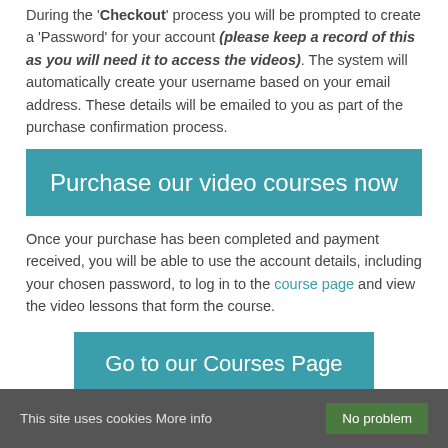During the 'Checkout' process you will be prompted to create a 'Password' for your account (please keep a record of this as you will need it to access the videos). The system will automatically create your username based on your email address. These details will be emailed to you as part of the purchase confirmation process.
[Figure (other): Teal banner button with white text: 'Purchase our video courses now']
Once your purchase has been completed and payment received, you will be able to use the account details, including your chosen password, to log in to the course page and view the video lessons that form the course.
[Figure (other): Teal banner button with white text: 'Go to our Courses Page']
This site uses cookies More info   No problem